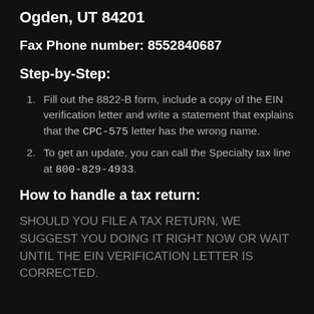Ogden, UT 84201
Fax Phone number: 8552840687
Step-by-Step:
Fill out the 8822-B form, include a copy of the EIN verification letter and write a statement that explains that the CPC-575 letter has the wrong name.
To get an update, you can call the Specialty tax line at 800-829-4933.
How to handle a tax return:
SHOULD YOU FILE A TAX RETURN, WE SUGGEST YOU DOING IT RIGHT NOW OR WAIT UNTIL THE EIN VERIFICATION LETTER IS CORRECTED.